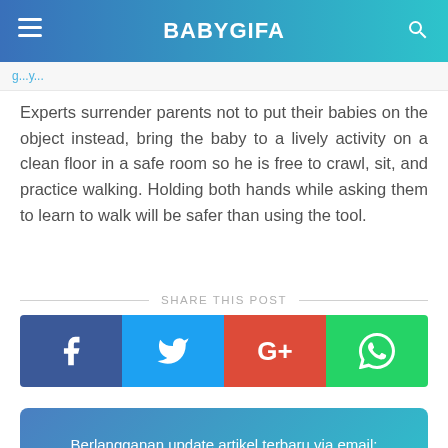BABYGIFA
g...y...
Experts surrender parents not to put their babies on the object instead, bring the baby to a lively activity on a clean floor in a safe room so he is free to crawl, sit, and practice walking. Holding both hands while asking them to learn to walk will be safer than using the tool.
SHARE THIS POST
[Figure (infographic): Social share buttons: Facebook, Twitter, Google+, WhatsApp]
Berlangganan update artikel terbaru via email:
Masukan alamat email...